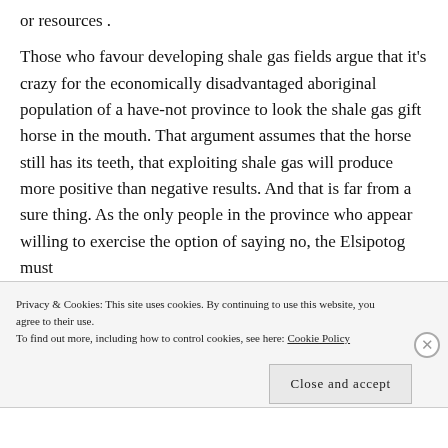or resources .
Those who favour developing shale gas fields argue that it’s crazy for the economically disadvantaged aboriginal population of a have-not province to look the shale gas gift horse in the mouth. That argument assumes that the horse still has its teeth, that exploiting shale gas will produce more positive than negative results. And that is far from a sure thing. As the only people in the province who appear willing to exercise the option of saying no, the Elsipotog must
Privacy & Cookies: This site uses cookies. By continuing to use this website, you agree to their use.
To find out more, including how to control cookies, see here: Cookie Policy
Close and accept